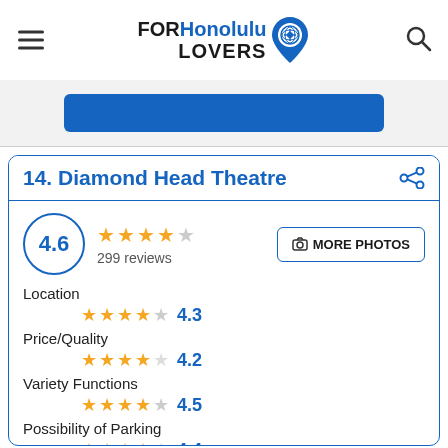FORHonolulu LOVERS
[Figure (other): Blue button/bar partially visible]
14. Diamond Head Theatre
4.6 rating, 299 reviews, 4 and half stars
Location 4.3
Price/Quality 4.2
Variety Functions 4.5
Possibility of Parking 4.4